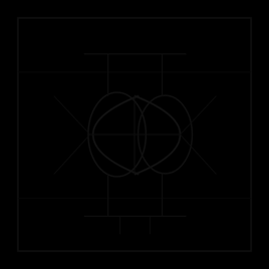[Figure (schematic): A dark/black background image showing what appears to be a schematic or engineering diagram — two circular/oval shapes (possibly eye-like or lens forms) rendered in very dark lines against a black background, with additional geometric line structures forming a rectangular frame around them. The overall image is extremely dark with low contrast.]